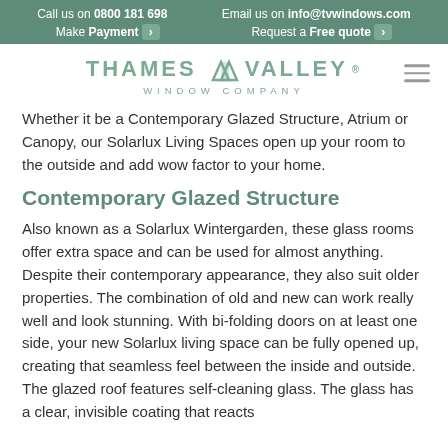Call us on 0800 181 698   Email us on info@tvwindows.com   Make Payment >   Request a Free quote >
[Figure (logo): Thames Valley Window Company logo with stylized mountain/roof icon in teal]
Whether it be a Contemporary Glazed Structure, Atrium or Canopy, our Solarlux Living Spaces open up your room to the outside and add wow factor to your home.
Contemporary Glazed Structure
Also known as a Solarlux Wintergarden, these glass rooms offer extra space and can be used for almost anything. Despite their contemporary appearance, they also suit older properties. The combination of old and new can work really well and look stunning. With bi-folding doors on at least one side, your new Solarlux living space can be fully opened up, creating that seamless feel between the inside and outside. The glazed roof features self-cleaning glass. The glass has a clear, invisible coating that reacts